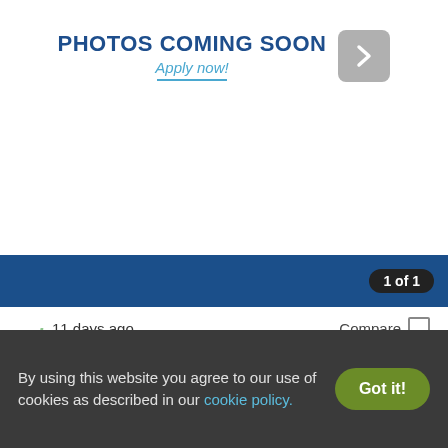[Figure (screenshot): Photos coming soon placeholder with arrow button]
PHOTOS COMING SOON
Apply now!
1 of 1
11 days ago
Compare
7643 E 37TH PL
7643 E 37TH PL, INDIANAPOLIS, IN 46226
1 Unit available
Verified
3 BEDS
$1,665
By using this website you agree to our use of cookies as described in our cookie policy.
Got it!